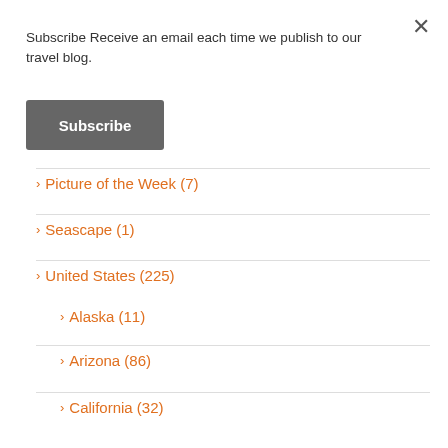Subscribe Receive an email each time we publish to our travel blog.
Subscribe
> Picture of the Week (7)
> Seascape (1)
> United States (225)
> Alaska (11)
> Arizona (86)
> California (32)